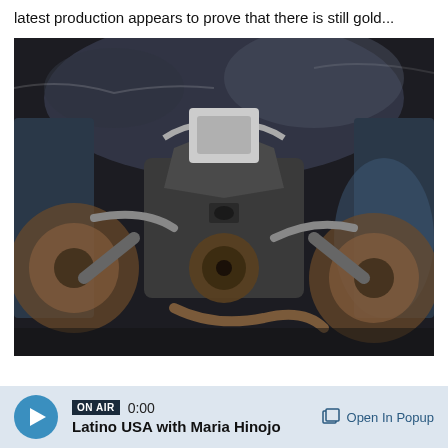latest production appears to prove that there is still gold...
[Figure (photo): Large oil painting of a disassembled or rusted automotive engine/machinery, rendered in dark tones of black, grey, blue, and brown. The painting shows mechanical parts including engine block, hoses, and metal components against a dark smoky background.]
ON AIR 0:00 Latino USA with Maria Hinojo  Open In Popup